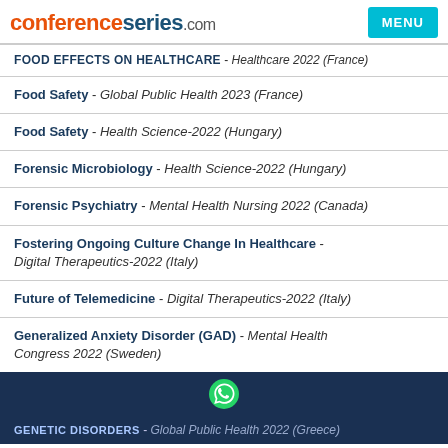conferenceseries.com  MENU
FOOD EFFECTS ON HEALTHCARE - Healthcare 2022 (France)
Food Safety - Global Public Health 2023 (France)
Food Safety - Health Science-2022 (Hungary)
Forensic Microbiology - Health Science-2022 (Hungary)
Forensic Psychiatry - Mental Health Nursing 2022 (Canada)
Fostering Ongoing Culture Change In Healthcare - Digital Therapeutics-2022 (Italy)
Future of Telemedicine - Digital Therapeutics-2022 (Italy)
Generalized Anxiety Disorder (GAD) - Mental Health Congress 2022 (Sweden)
Genetic Disorders - Global Public Health 2022 (Greece)